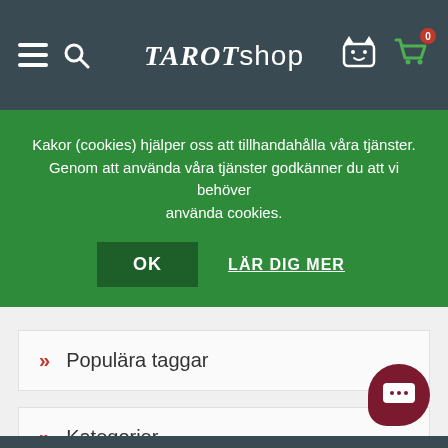TarotShop — hamburger menu, search, cat icon, cart (0)
Kakor (cookies) hjälper oss att tillhandahålla våra tjänster. Genom att använda våra tjänster godkänner du att vi behöver använda cookies.
OK  LÄR DIG MER
Populära taggar
Kategorier